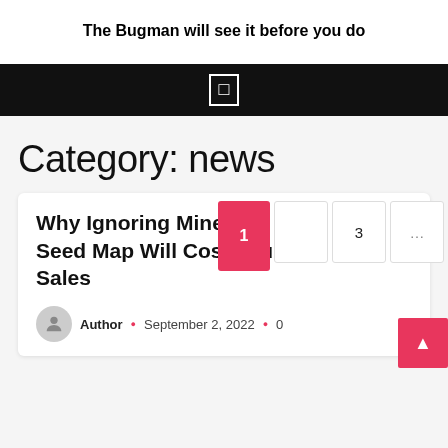The Bugman will see it before you do
Category: news
Why Ignoring Minecraft Seed Map Will Cost You Sales
Author  September 2, 2022  0